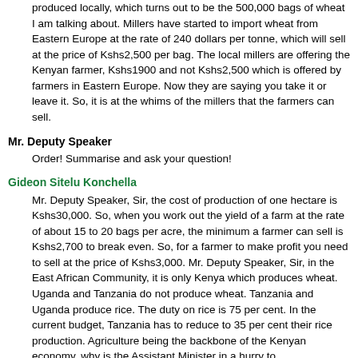produced locally, which turns out to be the 500,000 bags of wheat I am talking about. Millers have started to import wheat from Eastern Europe at the rate of 240 dollars per tonne, which will sell at the price of Kshs2,500 per bag. The local millers are offering the Kenyan farmer, Kshs1900 and not Kshs2,500 which is offered by farmers in Eastern Europe. Now they are saying you take it or leave it. So, it is at the whims of the millers that the farmers can sell.
Mr. Deputy Speaker
Order! Summarise and ask your question!
Gideon Sitelu Konchella
Mr. Deputy Speaker, Sir, the cost of production of one hectare is Kshs30,000. So, when you work out the yield of a farm at the rate of about 15 to 20 bags per acre, the minimum a farmer can sell is Kshs2,700 to break even. So, for a farmer to make profit you need to sell at the price of Kshs3,000. Mr. Deputy Speaker, Sir, in the East African Community, it is only Kenya which produces wheat. Uganda and Tanzania do not produce wheat. Tanzania and Uganda produce rice. The duty on rice is 75 per cent. In the current budget, Tanzania has to reduce to 35 per cent their rice production. Agriculture being the backbone of the Kenyan economy, why is the Assistant Minister in a hurry to